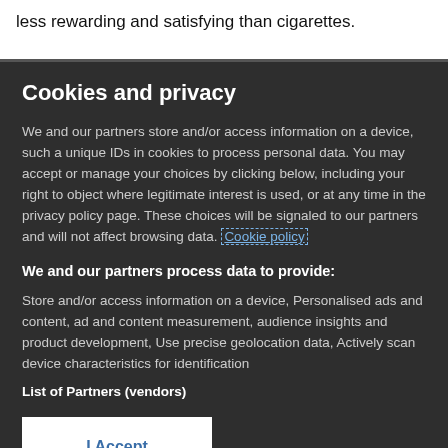less rewarding and satisfying than cigarettes.
Cookies and privacy
We and our partners store and/or access information on a device, such a unique IDs in cookies to process personal data. You may accept or manage your choices by clicking below, including your right to object where legitimate interest is used, or at any time in the privacy policy page. These choices will be signaled to our partners and will not affect browsing data. Cookie policy
We and our partners process data to provide:
Store and/or access information on a device, Personalised ads and content, ad and content measurement, audience insights and product development, Use precise geolocation data, Actively scan device characteristics for identification
List of Partners (vendors)
I Accept